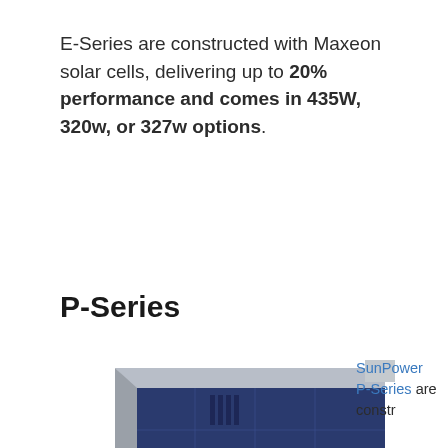E-Series are constructed with Maxeon solar cells, delivering up to 20% performance and comes in 435W, 320w, or 327w options.
P-Series
[Figure (photo): Close-up photo of a SunPower solar panel edge showing dark blue photovoltaic cells with silver frame, and a green circular logo element in the lower left corner]
SunPower P-Series are constr